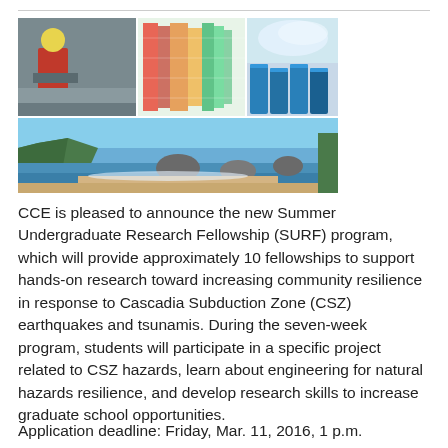[Figure (photo): Composite image with four photos: top-left shows a worker in hard hat crouching on a surface, top-center shows a colorful seismic hazard map, top-right shows blue storage tanks with water spray, bottom spanning full width shows a coastal beach scene with rocks and cliffs.]
CCE is pleased to announce the new Summer Undergraduate Research Fellowship (SURF) program, which will provide approximately 10 fellowships to support hands-on research toward increasing community resilience in response to Cascadia Subduction Zone (CSZ) earthquakes and tsunamis. During the seven-week program, students will participate in a specific project related to CSZ hazards, learn about engineering for natural hazards resilience, and develop research skills to increase graduate school opportunities.
Application deadline: Friday, Mar. 11, 2016, 1 p.m.